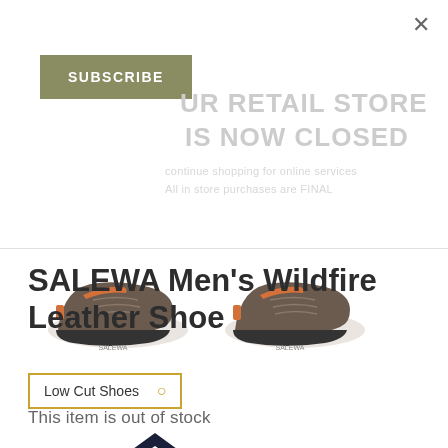[Figure (screenshot): E-commerce product page screenshot showing SALEWA hiking shoes with a modal overlay. The overlay contains a Subscribe button on an olive/khaki background and partially visible text 'OUR RETAIL STORE IS NOW CLOSED' with additional notice text in light gray. Below the overlay divider are two thumbnail images of brown/gray SALEWA Wildfire Leather hiking shoes.]
SALEWA Men's Wildfire Leather Shoe
Low Cut Shoes
This item is out of stock
[Figure (logo): SALEWA brand logo - a stylized dark navy/black wing or mountain shape at the bottom of the page]